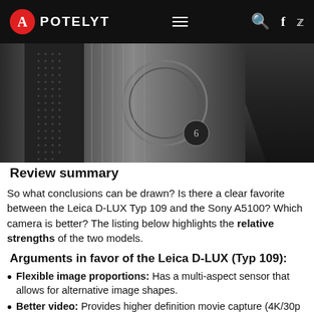APOTELYT
[Figure (photo): Close-up photo of camera body/lens with textured grip, dark gray/black tones]
Review summary
So what conclusions can be drawn? Is there a clear favorite between the Leica D-LUX Typ 109 and the Sony A5100? Which camera is better? The listing below highlights the relative strengths of the two models.
Arguments in favor of the Leica D-LUX (Typ 109):
Flexible image proportions: Has a multi-aspect sensor that allows for alternative image shapes.
Better video: Provides higher definition movie capture (4K/30p vs 1080/60p).
Easier framing: Has an electronic viewfinder for image composition and settings control.